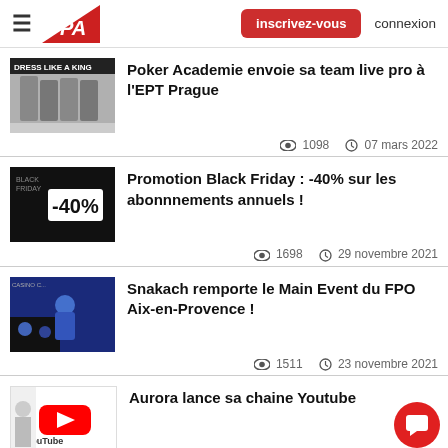≡  PA  inscrivez-vous  connexion
[Figure (screenshot): Thumbnail with group photo and 'DRESS LIKE A KING' banner]
Poker Academie envoie sa team live pro à l'EPT Prague
👁 1098  🕐 07 mars 2022
[Figure (screenshot): Black Friday -40% promotional image]
Promotion Black Friday : -40% sur les abonnnements annuels !
👁 1698  🕐 29 novembre 2021
[Figure (screenshot): FPO Aix-en-Provence casino event photo with winner]
Snakach remporte le Main Event du FPO Aix-en-Provence !
👁 1511  🕐 23 novembre 2021
[Figure (screenshot): YouTube channel thumbnail]
Aurora lance sa chaine Youtube